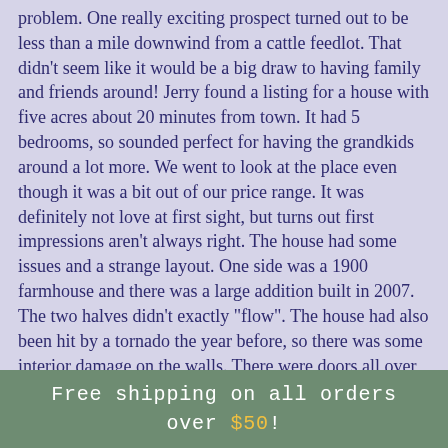problem.  One really exciting prospect turned out to be less than a mile downwind from a cattle feedlot.  That didn't seem like it would be a big draw to having family and friends around!  Jerry found a listing for a house with five acres about 20 minutes from town.  It had 5 bedrooms, so sounded perfect for having the grandkids around a lot more.  We went to look at the place even though it was a bit out of our price range.  It was definitely not love at first sight, but turns out first impressions aren't always right.  The house had some issues and a strange layout. One side was a 1900 farmhouse and there was a large addition built in 2007.  The two halves didn't exactly "flow".  The house had also been hit by a tornado the year before, so there was some interior damage on the walls.  There were doors all over the place...seriously, all over the place. Doors connecting closets, 2 doors in each of the main bathrooms, 3 different doors to the basement..it was  very
Free shipping on all orders over $50!